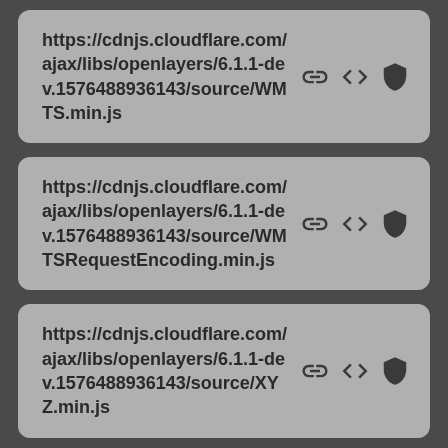https://cdnjs.cloudflare.com/ajax/libs/openlayers/6.1.1-dev.1576488936143/source/WMTS.min.js
https://cdnjs.cloudflare.com/ajax/libs/openlayers/6.1.1-dev.1576488936143/source/WMTSRequestEncoding.min.js
https://cdnjs.cloudflare.com/ajax/libs/openlayers/6.1.1-dev.1576488936143/source/XYZ.min.js
https://cdnjs.cloudflare.com/ajax/libs/openlayers/6.1.1-